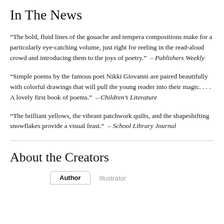In The News
“The bold, fluid lines of the gouache and tempera compositions make for a particularly eye-catching volume, just right for reeling in the read-aloud crowd and introducing them to the joys of poetry.” – Publishers Weekly
“Simple poems by the famous poet Nikki Giovanni are paired beautifully with colorful drawings that will pull the young reader into their magic. . . . A lovely first book of poems.” – Children’s Literature
“The brilliant yellows, the vibrant patchwork quilts, and the shapeshifting snowflakes provide a visual feast.” – School Library Journal
About the Creators
Author	Illustrator